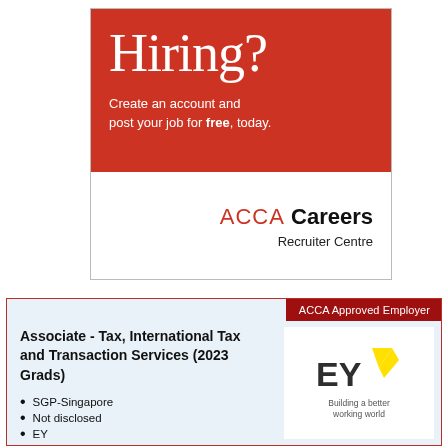[Figure (infographic): ACCA Careers Recruiter Centre hiring advertisement. Red top section with 'Hiring?' in large white serif font, followed by 'Create an account and post your job for free, today.' Below in white section: ACCA Careers Recruiter Centre logo text.]
[Figure (infographic): Job listing card for 'Associate - Tax, International Tax and Transaction Services (2023 Grads)' at EY, Singapore. Light blue background with red border. ACCA Approved Employer badge top right. Details: SGP-Singapore, Not disclosed, EY. EY logo with 'Building a better working world' tagline on right.]